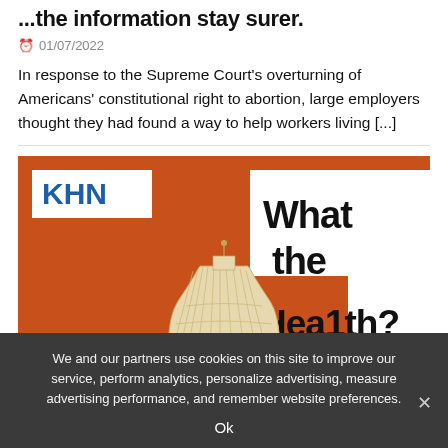...the information stay surer.
01/07/2022
In response to the Supreme Court's overturning of Americans' constitutional right to abortion, large employers thought they had found a way to help workers living [...]
[Figure (illustration): KHN 'What the Health?' podcast artwork showing the US Capitol dome illustration on an orange background with white KHN logo and 'What the Health?' text]
We and our partners use cookies on this site to improve our service, perform analytics, personalize advertising, measure advertising performance, and remember website preferences.
Ok